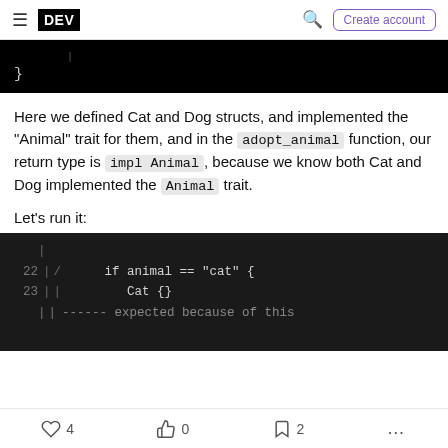DEV | Create account
[Figure (screenshot): Dark code block showing a closing brace of a Rust function]
Here we defined Cat and Dog structs, and implemented the "Animal" trait for them, and in the adopt_animal function, our return type is impl Animal, because we know both Cat and Dog implemented the Animal trait.
Let's run it:
[Figure (screenshot): Dark code block showing lines 22-23 of Rust code: if animal == "cat" { Cat {} followed by expected because of this]
4  0  2  ...